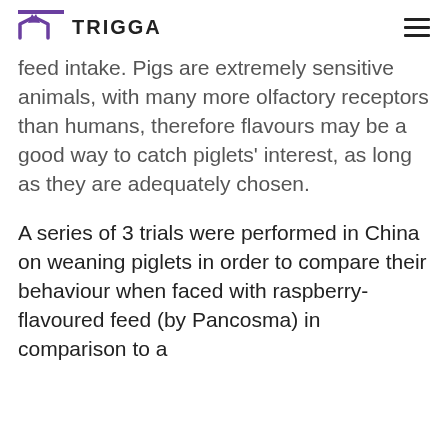TRIGGA
feed intake. Pigs are extremely sensitive animals, with many more olfactory receptors than humans, therefore flavours may be a good way to catch piglets' interest, as long as they are adequately chosen.
A series of 3 trials were performed in China on weaning piglets in order to compare their behaviour when faced with raspberry-flavoured feed (by Pancosma) in comparison to a